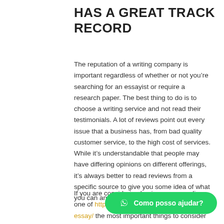HAS A GREAT TRACK RECORD
The reputation of a writing company is important regardless of whether or not you’re searching for an essayist or require a research paper. The best thing to do is to choose a writing service and not read their testimonials. A lot of reviews point out every issue that a business has, from bad quality customer service, to the high cost of services. While it’s understandable that people may have differing opinions on different offerings, it’s always better to read reviews from a specific source to give you some idea of what you can anticipate.
If you are considering buying essays online one of https://designic.com.br/w…essay/ the most important things to consider is the
[Figure (other): WhatsApp chat button with green rounded pill shape, showing WhatsApp icon and text 'Como posso ajudar?']